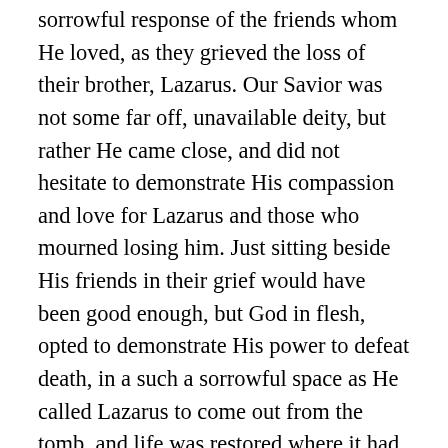sorrowful response of the friends whom He loved, as they grieved the loss of their brother, Lazarus. Our Savior was not some far off, unavailable deity, but rather He came close, and did not hesitate to demonstrate His compassion and love for Lazarus and those who mourned losing him. Just sitting beside His friends in their grief would have been good enough, but God in flesh, opted to demonstrate His power to defeat death, in a such a sorrowful space as He called Lazarus to come out from the tomb, and life was restored where it had been four days dead. No matter our circumstances, He sees and feels what we feel. Christ loves so deeply, that He is moved in compassion and compelled to